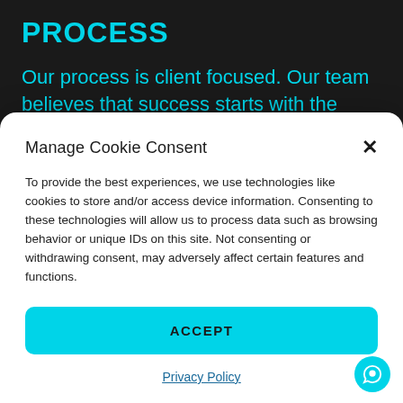PROCESS
Our process is client focused. Our team believes that success starts with the relationship with the client. ERP
Manage Cookie Consent
To provide the best experiences, we use technologies like cookies to store and/or access device information. Consenting to these technologies will allow us to process data such as browsing behavior or unique IDs on this site. Not consenting or withdrawing consent, may adversely affect certain features and functions.
ACCEPT
Privacy Policy